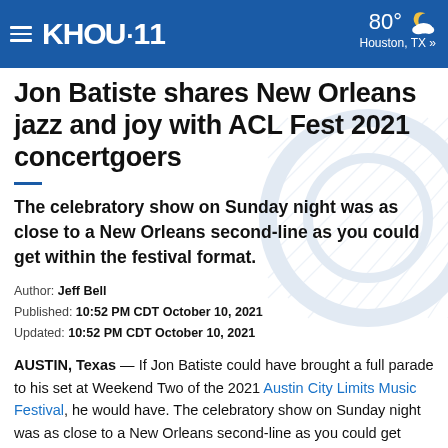KHOU 11 | 80° Houston, TX »
Jon Batiste shares New Orleans jazz and joy with ACL Fest 2021 concertgoers
The celebratory show on Sunday night was as close to a New Orleans second-line as you could get within the festival format.
Author: Jeff Bell
Published: 10:52 PM CDT October 10, 2021
Updated: 10:52 PM CDT October 10, 2021
AUSTIN, Texas — If Jon Batiste could have brought a full parade to his set at Weekend Two of the 2021 Austin City Limits Music Festival, he would have. The celebratory show on Sunday night was as close to a New Orleans second-line as you could get within the festival format.